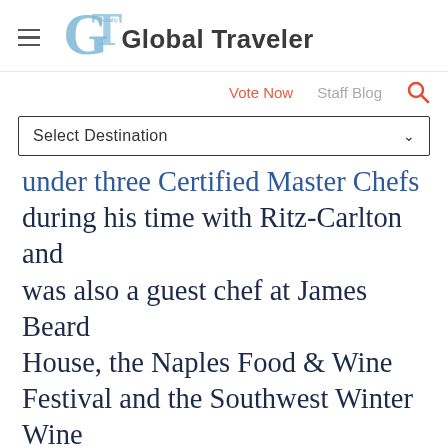Global Traveler
Vote Now   Staff Blog
Select Destination
under three Certified Master Chefs during his time with Ritz-Carlton and was also a guest chef at James Beard House, the Naples Food & Wine Festival and the Southwest Winter Wine Festival.